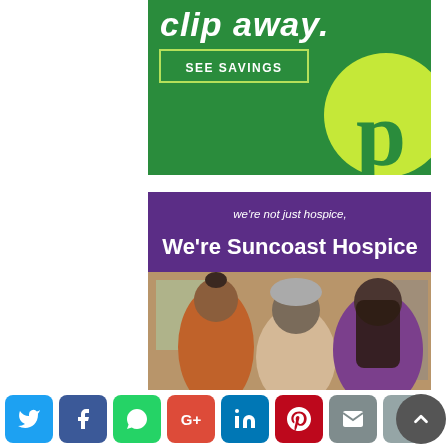[Figure (illustration): Publix supermarket advertisement on green background with 'clip away.' text, 'SEE SAVINGS' button, and Publix logo (lime green circle with stylized p)]
[Figure (illustration): Suncoast Hospice advertisement with purple header reading 'we're not just hospice, We're Suncoast Hospice' and photo of three women (two Black women and one Hispanic woman with long dark hair) sitting together in a caring scene]
[Figure (infographic): Social media sharing bar with buttons for Twitter, Facebook, WhatsApp, Google+, LinkedIn, Pinterest, Email, Print, and a scroll-to-top button]